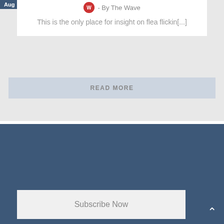Aug
- By The Wave
This is the only place for insight on flea flickin[...]
READ MORE
VIEW MORE TOPICS
SUBSCRIBE TO THE DRAKE MAGAZINE
Subscribe Now